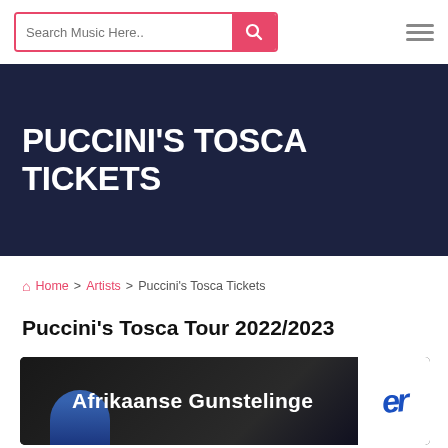Search Music Here..
PUCCINI'S TOSCA TICKETS
🏠 Home > Artists > Puccini's Tosca Tickets
Puccini's Tosca Tour 2022/2023
[Figure (photo): Image showing text 'Afrikaanse Gunstelinge' in white bold text on dark background with a partial face visible and a logo/text element on the right side]